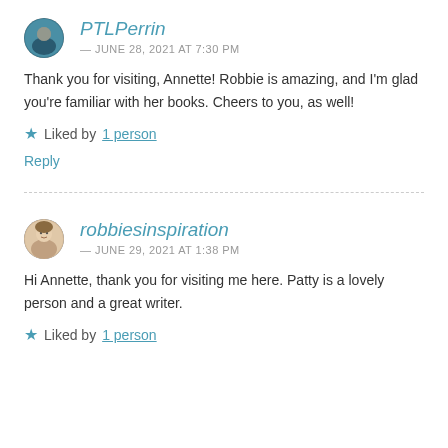[Figure (photo): Round avatar photo of PTLPerrin user, outdoor scene with blue tones]
PTLPerrin
— JUNE 28, 2021 AT 7:30 PM
Thank you for visiting, Annette! Robbie is amazing, and I'm glad you're familiar with her books. Cheers to you, as well!
Liked by 1 person
Reply
[Figure (photo): Round avatar photo of robbiesinspiration user, woman with light background]
robbiesinspiration
— JUNE 29, 2021 AT 1:38 PM
Hi Annette, thank you for visiting me here. Patty is a lovely person and a great writer.
Liked by 1 person